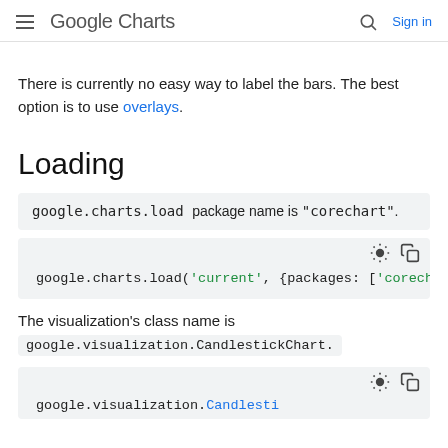Google Charts  Sign in
There is currently no easy way to label the bars. The best option is to use overlays.
Loading
google.charts.load package name is "corechart".
[Figure (screenshot): Code block showing: google.charts.load('current', {packages: ['corechart']
The visualization's class name is google.visualization.CandlestickChart.
[Figure (screenshot): Partially visible code block at the bottom of the page]